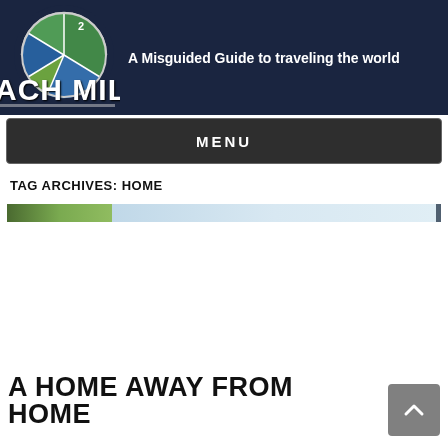ACH MILE — A Misguided Guide to traveling the world
MENU
TAG ARCHIVES: HOME
[Figure (photo): Partial image strip showing greenery on the left and light blue sky on the right]
A HOME AWAY FROM HOME